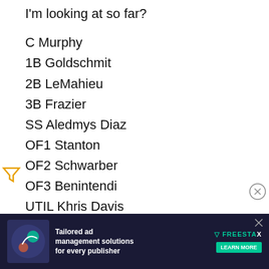I'm looking at so far?
C Murphy
1B Goldschmit
2B LeMahieu
3B Frazier
SS Aledmys Diaz
OF1 Stanton
OF2 Schwarber
OF3 Benintendi
UTIL Khris Davis
UTIL Javier Baez
Bnch Tim Anderson
SP 1 Cueto
SP2 Aaron Sanchez
SP3 Jon Gray
SP4 Pineda
SP5 Ca…